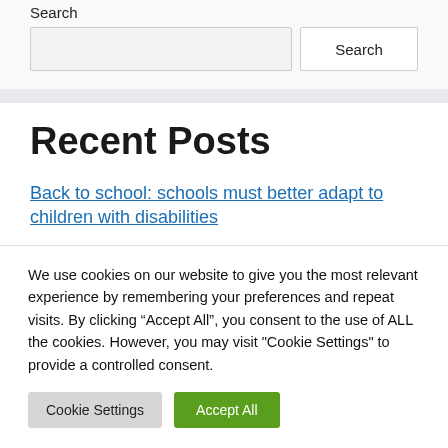Search
Search input and button
Recent Posts
Back to school: schools must better adapt to children with disabilities
We use cookies on our website to give you the most relevant experience by remembering your preferences and repeat visits. By clicking “Accept All”, you consent to the use of ALL the cookies. However, you may visit "Cookie Settings" to provide a controlled consent.